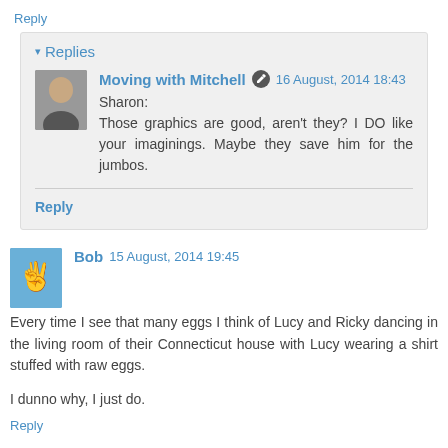Reply
▾ Replies
Moving with Mitchell  16 August, 2014 18:43
Sharon:
Those graphics are good, aren't they? I DO like your imaginings. Maybe they save him for the jumbos.
Reply
Bob  15 August, 2014 19:45
Every time I see that many eggs I think of Lucy and Ricky dancing in the living room of their Connecticut house with Lucy wearing a shirt stuffed with raw eggs.

I dunno why, I just do.
Reply